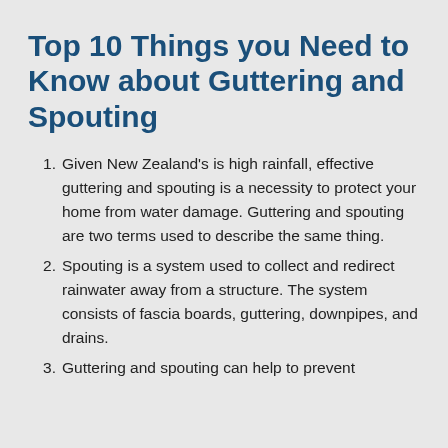Top 10 Things you Need to Know about Guttering and Spouting
Given New Zealand's is high rainfall, effective guttering and spouting is a necessity to protect your home from water damage. Guttering and spouting are two terms used to describe the same thing.
Spouting is a system used to collect and redirect rainwater away from a structure. The system consists of fascia boards, guttering, downpipes, and drains.
Guttering and spouting can help to prevent